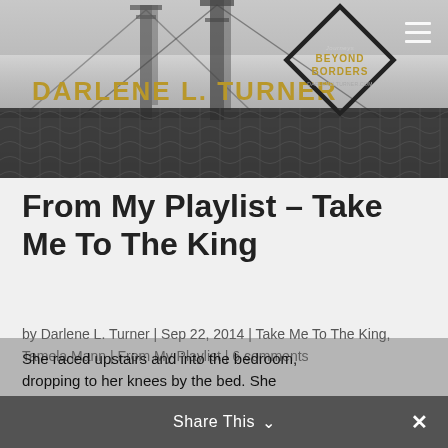[Figure (photo): Website header banner showing Golden Gate Bridge in black and white with chain-link fence in foreground. Site name 'DARLENE L. TURNER' in gold text and a diamond-shaped logo reading 'BEYOND BORDERS' on the right.]
From My Playlist – Take Me To The King
by Darlene L. Turner | Sep 22, 2014 | Take Me To The King, Tamela Mann | From My Playlist | 6 comments
She raced upstairs and into the bedroom, dropping to her knees by the bed. She